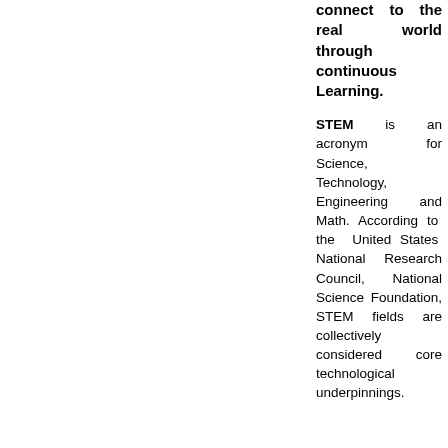connect to the real world through continuous Learning.
STEM is an acronym for Science, Technology, Engineering and Math. According to the United States National Research Council, National Science Foundation, STEM fields are collectively considered core technological underpinnings.